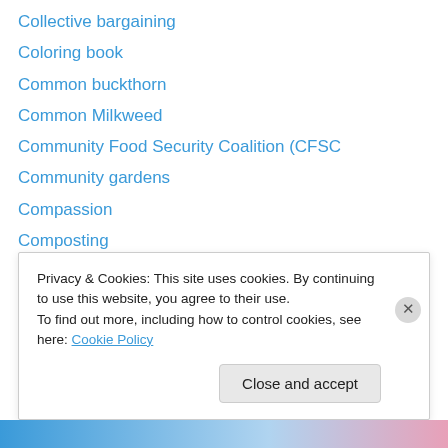Collective bargaining
Coloring book
Common buckthorn
Common Milkweed
Community Food Security Coalition (CFSC
Community gardens
Compassion
Composting
Computer
Computers
Concentrated Animal Feeding Operations
Congressman Dennis Kucinich
Congressman Dennis Kucinich (D-OH)
Privacy & Cookies: This site uses cookies. By continuing to use this website, you agree to their use.
To find out more, including how to control cookies, see here: Cookie Policy
Close and accept